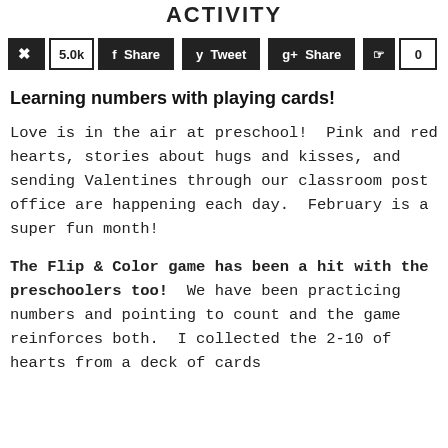ACTIVITY
[Figure (infographic): Social media share buttons: Pinterest with count 5.0k, Facebook Share, Twitter Tweet, Google+ Share, StumbleUpon with count 0]
Learning numbers with playing cards!
Love is in the air at preschool! Pink and red hearts, stories about hugs and kisses, and sending Valentines through our classroom post office are happening each day. February is a super fun month!
The Flip & Color game has been a hit with the preschoolers too! We have been practicing numbers and pointing to count and the game reinforces both. I collected the 2-10 of hearts from a deck of cards